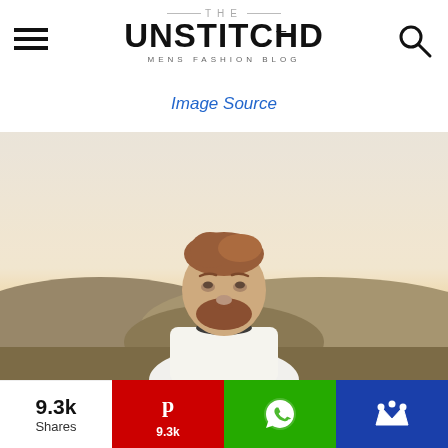THE UNSTITCHED MENS FASHION BLOG
Image Source
[Figure (photo): Man with beard wearing white jacket, photographed outdoors at sunset with hills in background]
9.3k Shares | Pinterest 9.3k | WhatsApp | Crown